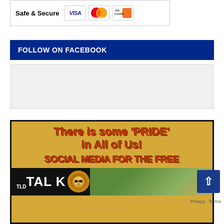[Figure (other): Safe & Secure payment banner with Visa, MasterCard, and Discover card logos]
FOLLOW ON FACEBOOK
[Figure (other): Facebook widget/embed area (light gray background)]
[Figure (other): Promotional image with yellow background showing text: There is some 'PRIDE' in All of Us! SOCIAL MEDIA FOR THE FREE — with TALK logo and lion icon at bottom]
Privacy · Terms